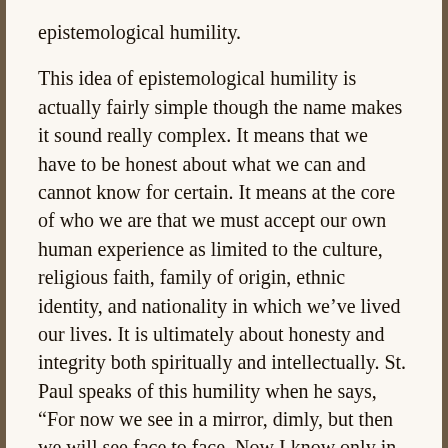epistemological humility.
This idea of epistemological humility is actually fairly simple though the name makes it sound really complex. It means that we have to be honest about what we can and cannot know for certain. It means at the core of who we are that we must accept our own human experience as limited to the culture, religious faith, family of origin, ethnic identity, and nationality in which we’ve lived our lives. It is ultimately about honesty and integrity both spiritually and intellectually. St. Paul speaks of this humility when he says, “For now we see in a mirror, dimly, but then we will see face to face. Now I know only in part; then I will know fully, even as I have been fully known.  And now faith, hope, and love abide, these three; and the greatest of these is love.” (1 Corinthians 13:12–13)